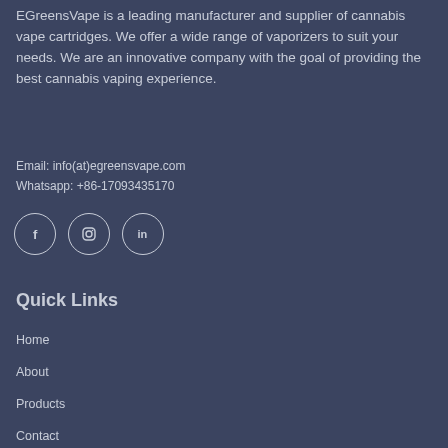EGreensVape is a leading manufacturer and supplier of cannabis vape cartridges. We offer a wide range of vaporizers to suit your needs. We are an innovative company with the goal of providing the best cannabis vaping experience.
Email: info(at)egreensvape.com
Whatsapp: +86-17093435170
[Figure (illustration): Three social media icons in circles: Facebook (f), Instagram (camera/circle), LinkedIn (in)]
Quick Links
Home
About
Products
Contact